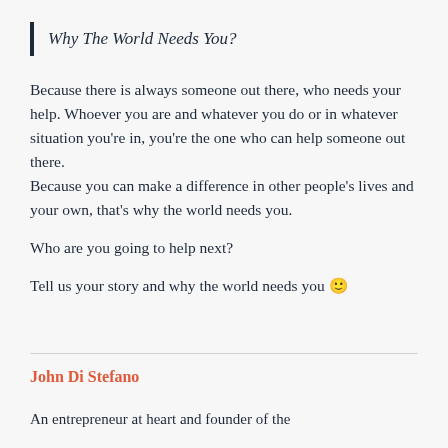Why The World Needs You?
Because there is always someone out there, who needs your help. Whoever you are and whatever you do or in whatever situation you're in, you're the one who can help someone out there.
Because you can make a difference in other people's lives and your own, that's why the world needs you.
Who are you going to help next?
Tell us your story and why the world needs you 🙂
John Di Stefano
An entrepreneur at heart and founder of the